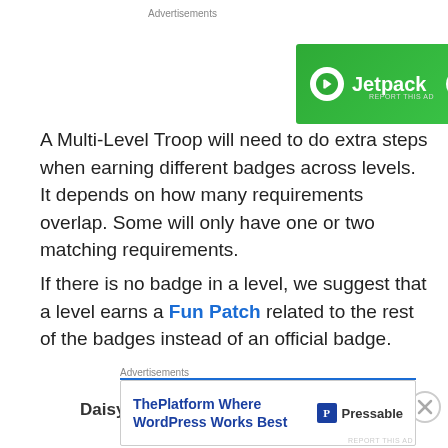[Figure (other): Jetpack advertisement banner with green background, Jetpack logo and 'Back up your site' button]
A Multi-Level Troop will need to do extra steps when earning different badges across levels. It depends on how many requirements overlap. Some will only have one or two matching requirements.
If there is no badge in a level, we suggest that a level earns a Fun Patch related to the rest of the badges instead of an official badge.
Daisy – Daisy Cybersecurity Investigator
[Figure (other): Pressable/WordPress advertisement banner at bottom of page]